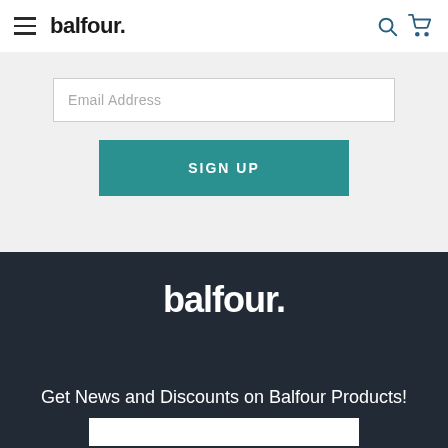balfour. [navigation header with hamburger menu, search icon, and cart icon]
Email Address
SIGN UP
[Figure (logo): Balfour wordmark logo in white on dark navy background]
Get News and Discounts on Balfour Products!
Email Address input field (bottom)